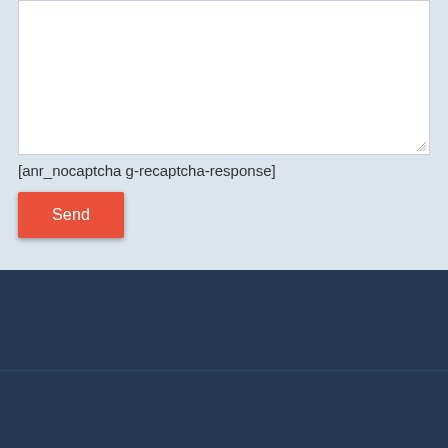[Figure (screenshot): A web form section showing a textarea (white box), a CAPTCHA shortcode text '[anr_nocaptcha g-recaptcha-response]', and a red 'Send' button, all on a light blue-grey background. Below is a dark navy blue footer area with a horizontal divider line.]